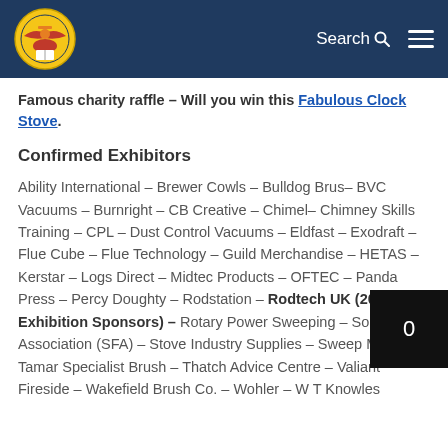Guild Master Chimney Sweep logo | Search | Menu
Famous charity raffle – Will you win this Fabulous Clock Stove.
Confirmed Exhibitors
Ability International – Brewer Cowls – Bulldog Brush – BVC Vacuums – Burnright – CB Creative – Chimelf – Chimney Skills Training – CPL – Dust Control Vacuums – Eldfast – Exodraft – Flue Cube – Flue Technology – Guild Merchandise – HETAS – Kerstar – Logs Direct – Midtec Products – OFTEC – Panda Press – Percy Doughty – Rodstation – Rodtech UK (2020 Exhibition Sponsors) – Rotary Power Sweeping – Solid Fuel Association (SFA) – Stove Industry Supplies – Sweep Mate – Tamar Specialist Brush – Thatch Advice Centre – Valiant Fireside – Wakefield Brush Co. – Wohler – W T Knowles